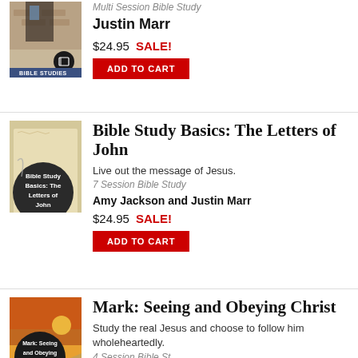[Figure (illustration): Bible Studies book cover - partial top crop showing building/architecture image with BIBLE STUDIES label at bottom and book icon]
Multi Session Bible Study
Justin Marr
$24.95  SALE!
ADD TO CART
[Figure (illustration): Bible Study Basics: The Letters of John book cover - scroll/paper background with dark circle containing title text, BIBLE STUDIES label at bottom]
Bible Study Basics: The Letters of John
Live out the message of Jesus.
7 Session Bible Study
Amy Jackson and Justin Marr
$24.95  SALE!
ADD TO CART
[Figure (illustration): Mark: Seeing and Obeying Christ book cover - desert/sunset landscape with dark circle containing title text, BIBLE STUDIES label at bottom]
Mark: Seeing and Obeying Christ
Study the real Jesus and choose to follow him wholeheartedly.
4 Session Bible Study